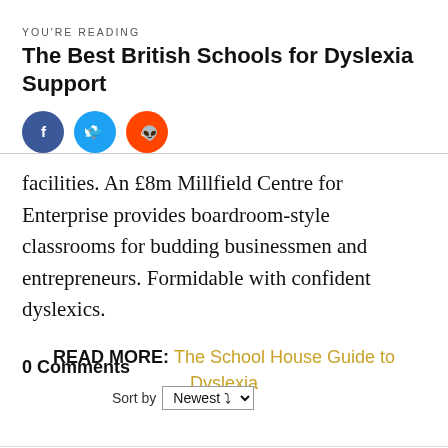YOU’RE READING
The Best British Schools for Dyslexia Support
[Figure (infographic): Three social media share buttons: Facebook (blue circle with f), Twitter (cyan circle with bird), Reddit (orange circle with alien logo)]
facilities. An £8m Millfield Centre for Enterprise provides boardroom-style classrooms for budding businessmen and entrepreneurs. Formidable with confident dyslexics.
READ MORE: The School House Guide to Dyslexia
0 Comments
Sort by Newest